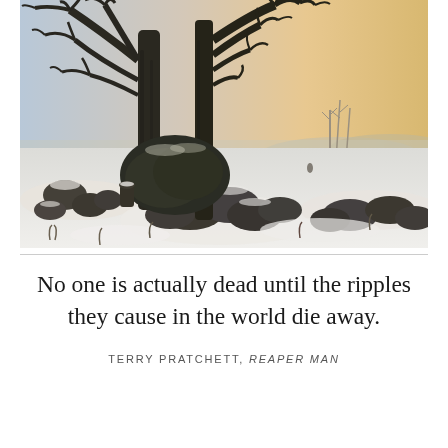[Figure (illustration): A winter landscape painting showing two large bare oak trees with gnarled branches against a pale sky, surrounded by snow-covered ground with scattered dark rocks and boulders. In the background, a misty open landscape with distant trees and a warm amber/golden sky on the horizon.]
No one is actually dead until the ripples they cause in the world die away.
TERRY PRATCHETT, REAPER MAN